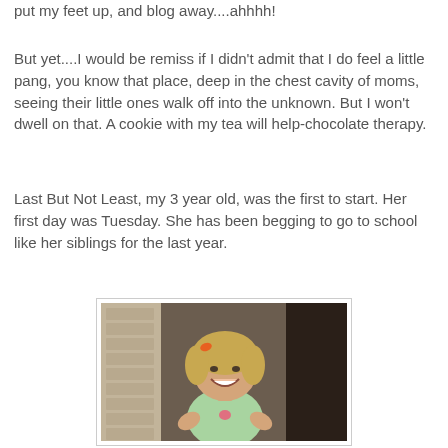put my feet up, and blog away....ahhhh!
But yet....I would be remiss if I didn't admit that I do feel a little pang, you know that place, deep in the chest cavity of moms, seeing their little ones walk off into the unknown. But I won't dwell on that. A cookie with my tea will help-chocolate therapy.
Last But Not Least, my 3 year old, was the first to start. Her first day was Tuesday. She has been begging to go to school like her siblings for the last year.
[Figure (photo): A smiling young blonde girl around 3 years old with an orange hair clip, wearing a light green top, leaning forward and smiling at the camera, photographed outdoors near a building.]